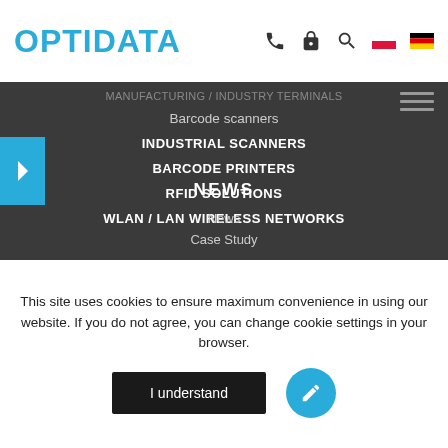OPTIDATA
Barcode scanners
INDUSTRIAL SCANNERS
BARCODE PRINTERS
RFID SOLUTIONS
WLAN / LAN WIRELESS NETWORKS
NEWS
News
Case Study
This site uses cookies to ensure maximum convenience in using our website. If you do not agree, you can change cookie settings in your browser.
I understand